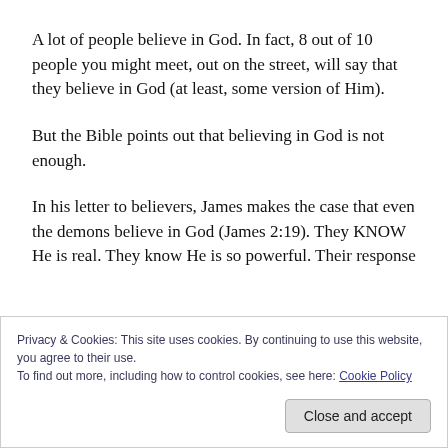A lot of people believe in God. In fact, 8 out of 10 people you might meet, out on the street, will say that they believe in God (at least, some version of Him).
But the Bible points out that believing in God is not enough.
In his letter to believers, James makes the case that even the demons believe in God (James 2:19). They KNOW He is real. They know He is so powerful. Their response
Privacy & Cookies: This site uses cookies. By continuing to use this website, you agree to their use.
To find out more, including how to control cookies, see here: Cookie Policy
Close and accept